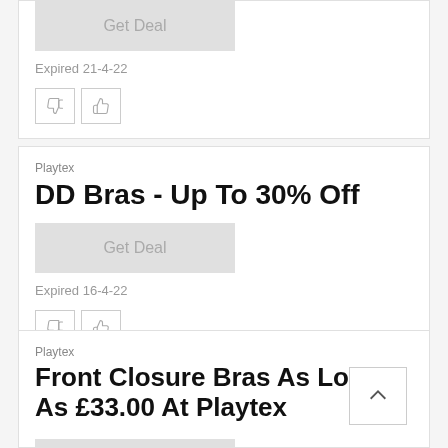[Figure (screenshot): Get Deal button (grayed out) at top of page, partial card]
Expired 21-4-22
[Figure (other): Thumbs down and thumbs up vote buttons]
Playtex
DD Bras - Up To 30% Off
[Figure (screenshot): Get Deal button (grayed out)]
Expired 16-4-22
[Figure (other): Thumbs down and thumbs up vote buttons]
Playtex
Front Closure Bras As Low As £33.00 At Playtex
[Figure (screenshot): Get Deal button (grayed out), partial at bottom]